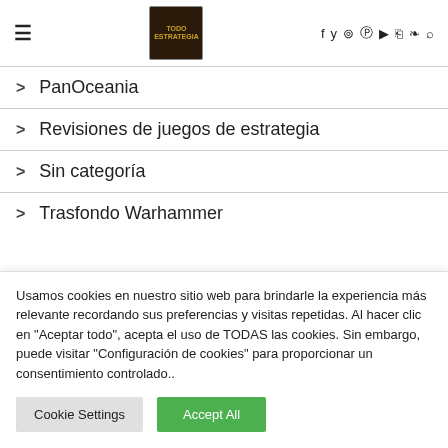Todo Estrategia — navigation header with hamburger menu, logo, social icons
> PanOceania
> Revisiones de juegos de estrategia
> Sin categoría
> Trasfondo Warhammer
Usamos cookies en nuestro sitio web para brindarle la experiencia más relevante recordando sus preferencias y visitas repetidas. Al hacer clic en "Aceptar todo", acepta el uso de TODAS las cookies. Sin embargo, puede visitar "Configuración de cookies" para proporcionar un consentimiento controlado..
Cookie Settings | Accept All